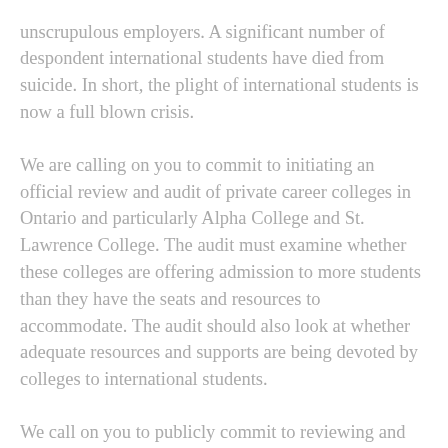unscrupulous employers. A significant number of despondent international students have died from suicide. In short, the plight of international students is now a full blown crisis.
We are calling on you to commit to initiating an official review and audit of private career colleges in Ontario and particularly Alpha College and St. Lawrence College. The audit must examine whether these colleges are offering admission to more students than they have the seats and resources to accommodate. The audit should also look at whether adequate resources and supports are being devoted by colleges to international students.
We call on you to publicly commit to reviewing and revising private career college